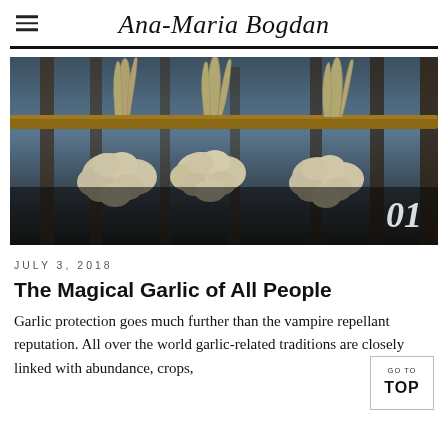Ana-Maria Bogdan
[Figure (photo): Three bundles of garlic hanging from a wooden pole or rack, photographed in a dark, moody style with a blue-grey background. The number '01' appears in white italic text in the lower right corner of the image.]
JULY 3, 2018
The Magical Garlic of All People
Garlic protection goes much further than the vampire repellant reputation. All over the world garlic-related traditions are closely linked with abundance, crops,